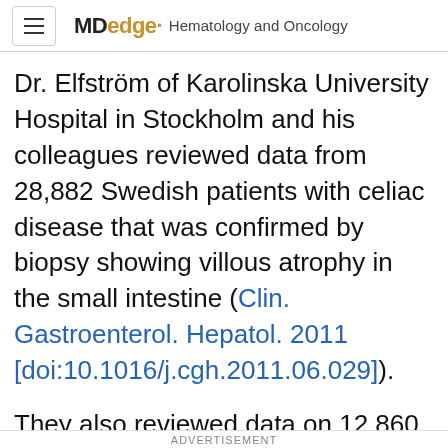MDedge Hematology and Oncology
Dr. Elfström of Karolinska University Hospital in Stockholm and his colleagues reviewed data from 28,882 Swedish patients with celiac disease that was confirmed by biopsy showing villous atrophy in the small intestine (Clin. Gastroenterol. Hepatol. 2011 [doi:10.1016/j.cgh.2011.06.029]).
They also reviewed data on 12,860 patients whose biopsies did not show atrophy but did show inflammation of the small intestine, and another 3,705 patients with normal mucosa
ADVERTISEMENT